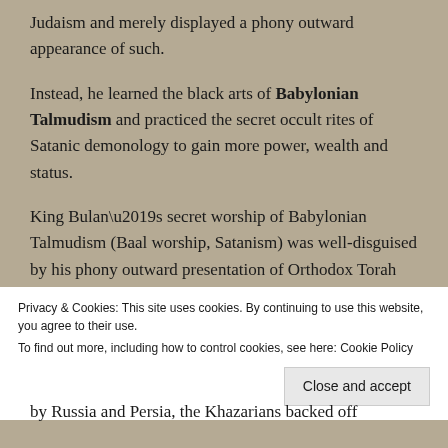Judaism and merely displayed a phony outward appearance of such.
Instead, he learned the black arts of Babylonian Talmudism and practiced the secret occult rites of Satanic demonology to gain more power, wealth and status.
King Bulan’s secret worship of Babylonian Talmudism (Baal worship, Satanism) was well-disguised by his phony outward presentation of Orthodox Torah Judaism as cover. His heart was not in setting an example and leading his people
Privacy & Cookies: This site uses cookies. By continuing to use this website, you agree to their use.
To find out more, including how to control cookies, see here: Cookie Policy
Close and accept
by Russia and Persia, the Khazarians backed off